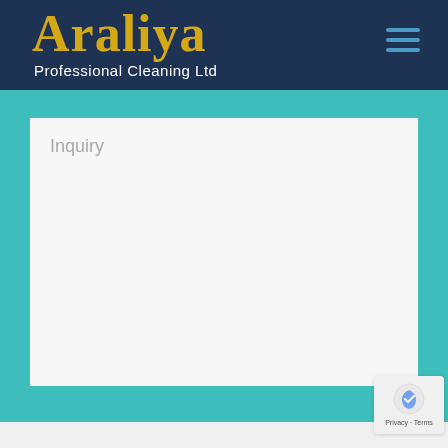Araliya Professional Cleaning Ltd
Inquiry
Privacy · Terms